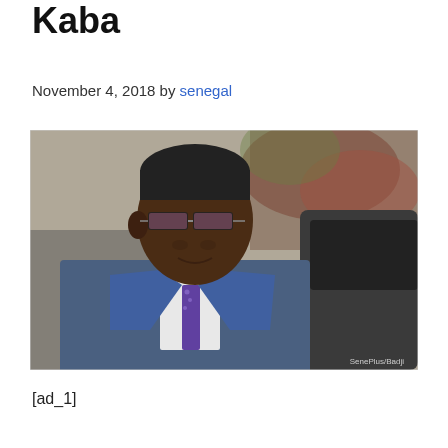Kaba
November 4, 2018 by senegal
[Figure (photo): A man in a blue suit and glasses, photographed outdoors. Photo credit: SenePlus/Badji]
[ad_1]